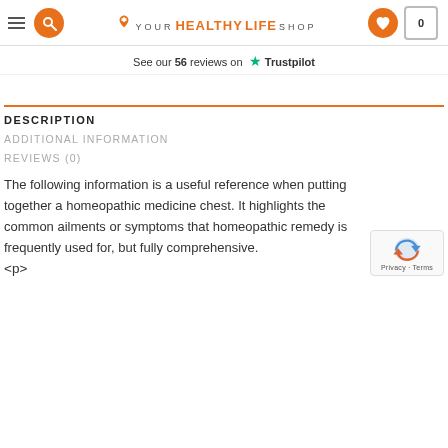Your Healthy Life Shop — navigation header with logo, search, wishlist, cart
See our 56 reviews on Trustpilot
DESCRIPTION
ADDITIONAL INFORMATION
REVIEWS (0)
The following information is a useful reference when putting together a homeopathic medicine chest. It highlights the common ailments or symptoms that homeopathic remedy is frequently used for, but fully comprehensive.
<p>